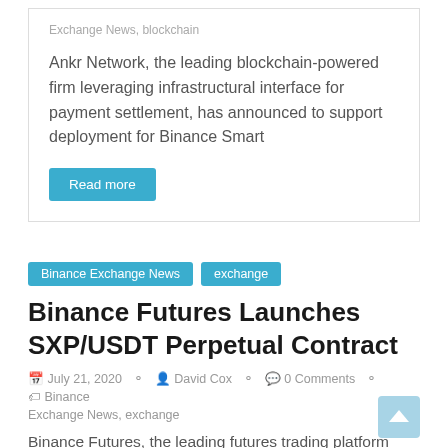Exchange News, blockchain
Ankr Network, the leading blockchain-powered firm leveraging infrastructural interface for payment settlement, has announced to support deployment for Binance Smart
Read more
Binance Exchange News  exchange
Binance Futures Launches SXP/USDT Perpetual Contract
July 21, 2020   David Cox   0 Comments   Binance Exchange News, exchange
Binance Futures, the leading futures trading platform helmed by globally-acclaimed cryptocurrency exchange